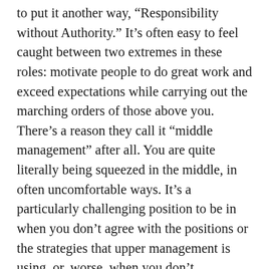to put it another way, “Responsibility without Authority.” It’s often easy to feel caught between two extremes in these roles: motivate people to do great work and exceed expectations while carrying out the marching orders of those above you. There’s a reason they call it “middle management” after all. You are quite literally being squeezed in the middle, in often uncomfortable ways. It’s a particularly challenging position to be in when you don’t agree with the positions or the strategies that upper management is using, or, worse, when you don’t understand what they are. The reality is, with rare exceptions, you’re not going to fix poor management above you. But that doesn’t mean that you in turn have to be a poor manager, as well. Your people are counting on you to be better